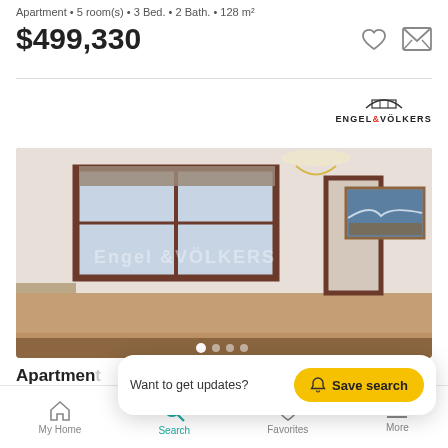Apartment • 5 room(s) • 3 Bed. • 2 Bath. • 128 m²
$499,330
[Figure (logo): Engel & Völkers real estate logo]
[Figure (photo): Interior photo of an apartment living room with large window, chandelier, wooden floors and a landscape painting on the wall. Engel & Völkers watermark overlaid.]
Apartment
Barcelona
Want to get updates?  Save search
My Home  Search  Favorites  More